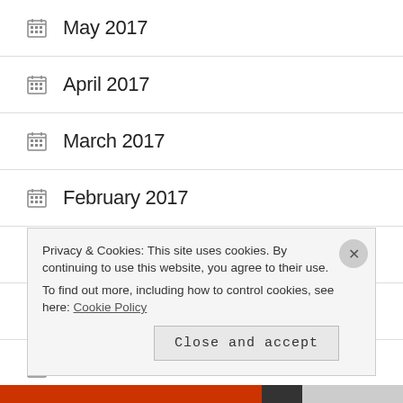May 2017
April 2017
March 2017
February 2017
January 2017
December 2016
November 2016
Privacy & Cookies: This site uses cookies. By continuing to use this website, you agree to their use.
To find out more, including how to control cookies, see here: Cookie Policy
Close and accept